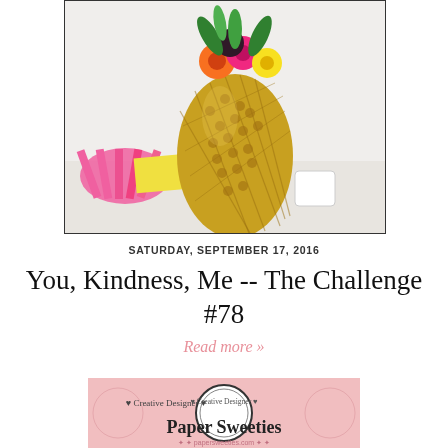[Figure (photo): Photo of a pineapple used as a vase with colorful flowers on top, placed on a bright table with colorful paper fans and items.]
SATURDAY, SEPTEMBER 17, 2016
You, Kindness, Me -- The Challenge #78
Read more »
[Figure (logo): Pink ornamental badge reading 'Creative Designer — Paper Sweeties' with decorative circle border and lace pattern background.]